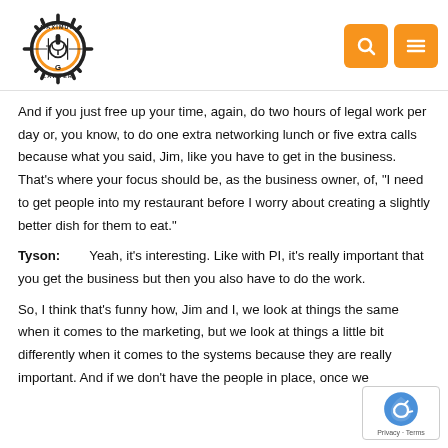Maximum Lawyer
And if you just free up your time, again, do two hours of legal work per day or, you know, to do one extra networking lunch or five extra calls because what you said, Jim, like you have to get in the business. That's where your focus should be, as the business owner, of, "I need to get people into my restaurant before I worry about creating a slightly better dish for them to eat."
Tyson: Yeah, it's interesting. Like with PI, it's really important that you get the business but then you also have to do the work.
So, I think that's funny how, Jim and I, we look at things the same when it comes to the marketing, but we look at things a little bit differently when it comes to the systems because they are really important. And if we don't have the people in place, once we